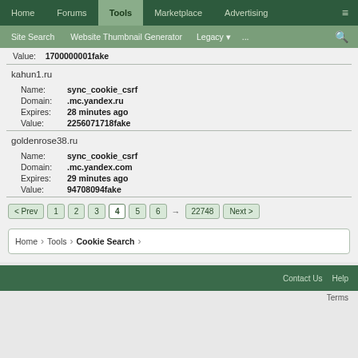Home | Forums | Tools | Marketplace | Advertising
Site Search | Website Thumbnail Generator | Legacy | ... | search
Value: 1700000001fake
kahun1.ru
| Field | Value |
| --- | --- |
| Name: | sync_cookie_csrf |
| Domain: | .mc.yandex.ru |
| Expires: | 28 minutes ago |
| Value: | 2256071718fake |
goldenrose38.ru
| Field | Value |
| --- | --- |
| Name: | sync_cookie_csrf |
| Domain: | .mc.yandex.com |
| Expires: | 29 minutes ago |
| Value: | 94708094fake |
< Prev  1  2  3  4  5  6  →  22748  Next >
Home > Tools > Cookie Search
Contact Us  Help
Terms